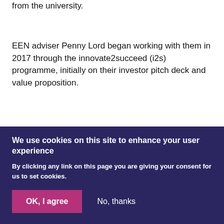from the university.
EEN adviser Penny Lord began working with them in 2017 through the innovate2succeed (i2s) programme, initially on their investor pitch deck and value proposition.
CamBioScience subsequently joined Global Business Innovation programmes run by EEN on behalf of
We use cookies on this site to enhance your user experience
By clicking any link on this page you are giving your consent for us to set cookies.
OK, I agree
No, thanks